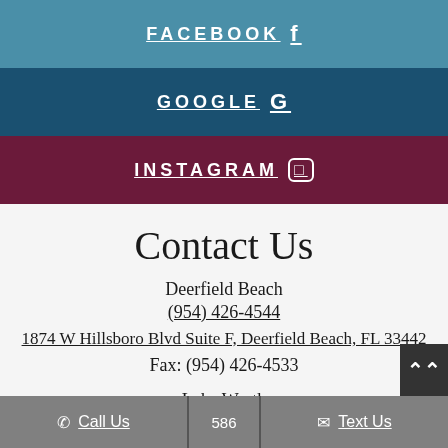FACEBOOK f
GOOGLE G
INSTAGRAM
Contact Us
Deerfield Beach
(954) 426-4544
1874 W Hillsboro Blvd Suite F, Deerfield Beach, FL 33442
Fax: (954) 426-4533
Lake Worth
Call Us
Text Us